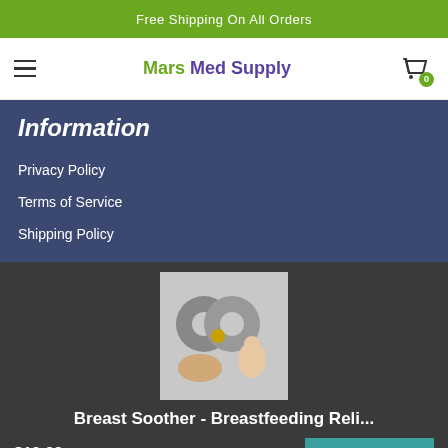Free Shipping On All Orders
[Figure (logo): Mars Med Supply logo with hamburger menu and shopping cart icon showing 0 items]
Information
Privacy Policy
Terms of Service
Shipping Policy
[Figure (photo): Product image showing two donut-shaped grey breast soother pads and a woman breastfeeding]
Breast Soother - Breastfeeding Reli...
$19.99
ADD TO CART